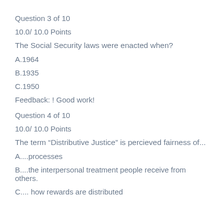Question 3 of 10
10.0/ 10.0 Points
The Social Security laws were enacted when?
A.1964
B.1935
C.1950
Feedback: ! Good work!
Question 4 of 10
10.0/ 10.0 Points
The term “Distributive Justice” is percieved fairness of...
A....processes
B....the interpersonal treatment people receive from others.
C.... how rewards are distributed